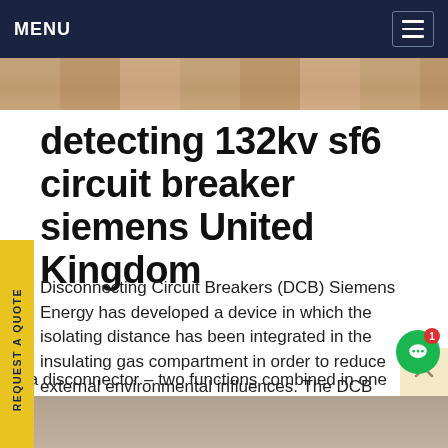MENU
[Figure (photo): Partial photo at top of page, showing warm/skin-toned blurred background]
detecting 132kv sf6 circuit breaker siemens United Kingdom
Disconnecting Circuit Breakers (DCB) Siemens Energy has developed a device in which the isolating distance has been integrated in the insulating gas compartment in order to reduce external environmental influences. The DCB (Disconnecting Circuit Breaker) is used as a circuit breaker and also as a disconnector – two functions combined in one device.Get price
[Figure (photo): Partial photo at bottom of page]